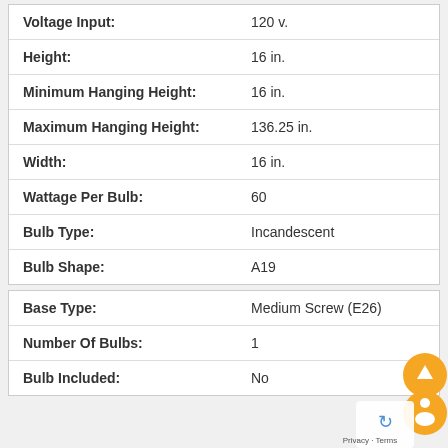| Attribute | Value |
| --- | --- |
| Voltage Input: | 120 v. |
| Height: | 16 in. |
| Minimum Hanging Height: | 16 in. |
| Maximum Hanging Height: | 136.25 in. |
| Width: | 16 in. |
| Wattage Per Bulb: | 60 |
| Bulb Type: | Incandescent |
| Bulb Shape: | A19 |
| Attribute | Value |
| --- | --- |
| Base Type: | Medium Screw (E26) |
| Number Of Bulbs: | 1 |
| Bulb Included: | No |